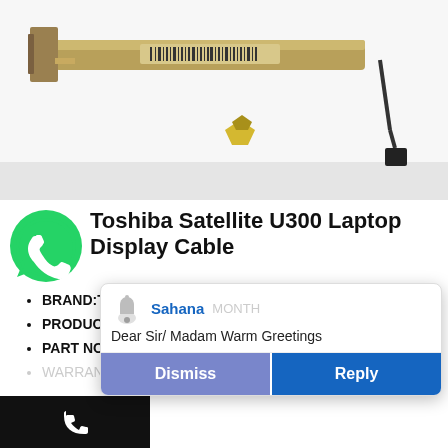[Figure (photo): Photo of a Toshiba Satellite U300 laptop LCD display cable with connectors and barcode label, plus a small golden connector piece below]
Toshiba Satellite U300 Laptop Display Cable
[Figure (logo): WhatsApp green logo icon overlapping the title]
BRAND:TOSHIBA
PRODUCT TYPE:LCD DISPLAY CABLE
PART NO :DD0BU1LC300
WARRANTY:3 MONTH
[Figure (screenshot): Notification popup showing bell icon, sender name Sahana, message Dear Sir/ Madam Warm Greetings, with Dismiss and Reply buttons]
[Figure (other): Black bottom bar with white phone/call icon]